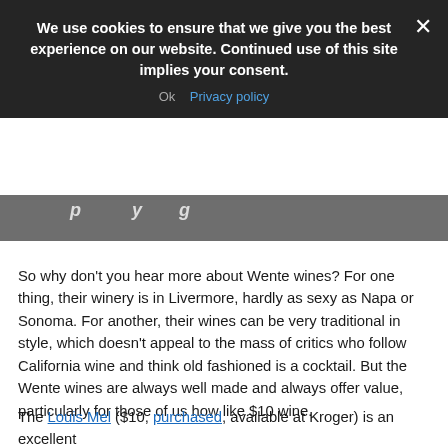We use cookies to ensure that we give you the best experience on our website. Continued use of this site implies your consent.
Ok   Privacy policy
p y g
So why don't you hear more about Wente wines? For one thing, their winery is in Livermore, hardly as sexy as Napa or Sonoma. For another, their wines can be very traditional in style, which doesn't appeal to the mass of critics who follow California wine and think old fashioned is a cocktail. But the Wente wines are always well made and always offer value, particularly for those of us how like $10 wine.
The Louis Mel ($10, purchased, available at Kroger) is an excellent